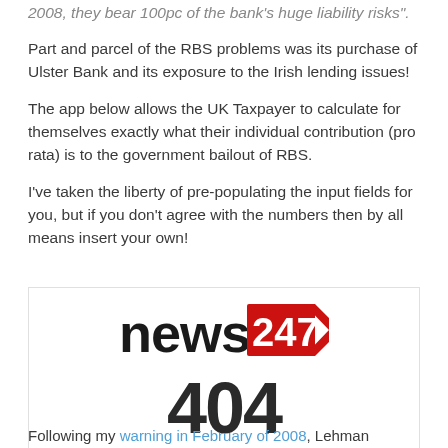2008, they bear 100pc of the bank's huge liability risks".
Part and parcel of the RBS problems was its purchase of Ulster Bank and its exposure to the Irish lending issues!
The app below allows the UK Taxpayer to calculate for themselves exactly what their individual contribution (pro rata) is to the government bailout of RBS.
I've taken the liberty of pre-populating the input fields for you, but if you don't agree with the numbers then by all means insert your own!
[Figure (logo): News247 logo with red chevron/arrow graphic and '247' in white text on red background, followed by large '404' error text below]
Following my warning in February of 2008, Lehman